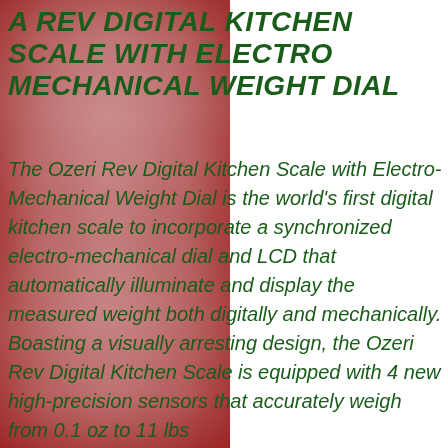[Figure (illustration): Dark red/crimson background with white snowflake pattern decorative strip occupying the left portion of the page]
A REV DIGITAL KITCHEN SCALE WITH ELECTRO MECHANICAL WEIGHT DIAL
The Ozeri Rev Digital Kitchen Scale with Electro-Mechanical Weight Dial is the world's first digital kitchen scale to incorporate a synchronized electro-mechanical dial and LCD that automatically illuminate and display the measured weight both digitally and mechanically. Boasting a visually arresting design, the Ozeri Rev Digital Kitchen Scale is equipped with 4 new high-precision sensors that accurately weigh from 0.1 oz to 11 lbs